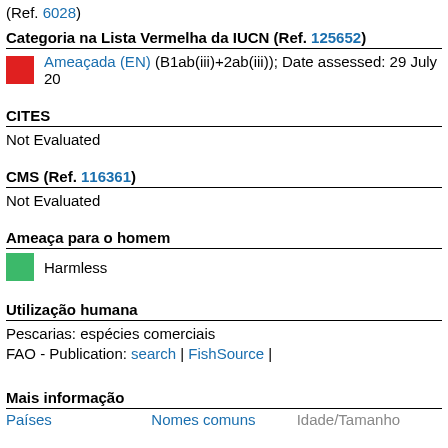(Ref. 6028)
Categoria na Lista Vermelha da IUCN (Ref. 125652)
Ameaçada (EN) (B1ab(iii)+2ab(iii)); Date assessed: 29 July 20
CITES
Not Evaluated
CMS (Ref. 116361)
Not Evaluated
Ameaça para o homem
Harmless
Utilização humana
Pescarias: espécies comerciais
FAO - Publication: search | FishSource |
Mais informação
Países   Nomes comuns   Idade/Tamanho